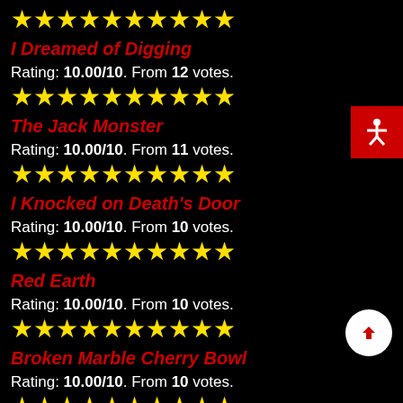[Figure (other): Row of yellow star rating icons (partial top, cropped)]
I Dreamed of Digging
Rating: 10.00/10. From 12 votes.
[Figure (other): 10 yellow star icons representing 10/10 rating]
The Jack Monster
Rating: 10.00/10. From 11 votes.
[Figure (other): 10 yellow star icons representing 10/10 rating]
I Knocked on Death's Door
Rating: 10.00/10. From 10 votes.
[Figure (other): 10 yellow star icons representing 10/10 rating]
Red Earth
Rating: 10.00/10. From 10 votes.
[Figure (other): 10 yellow star icons representing 10/10 rating]
Broken Marble Cherry Bowl
Rating: 10.00/10. From 10 votes.
[Figure (other): 10 yellow star icons representing 10/10 rating]
Hell is Heaven to the Demons